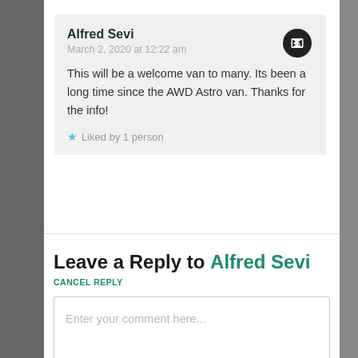Alfred Sevi
March 2, 2020 at 12:22 am
This will be a welcome van to many. Its been a long time since the AWD Astro van. Thanks for the info!
Liked by 1 person
Leave a Reply to Alfred Sevi
CANCEL REPLY
Enter your comment here...